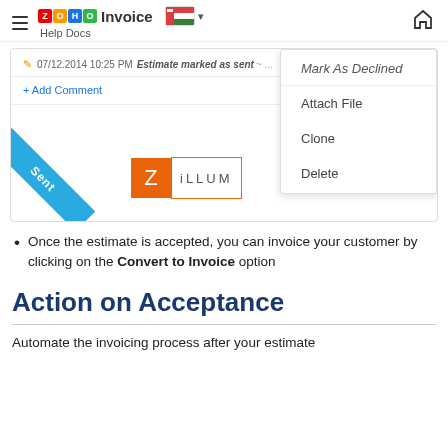ZOHO Invoice Help Docs
[Figure (screenshot): Screenshot of Zoho Invoice showing an estimate marked as sent with a dropdown menu open containing options: Mark As Declined, Attach File, Clone, Delete. The estimate preview shows a Sent ribbon and Zillum logo.]
Once the estimate is accepted, you can invoice your customer by clicking on the Convert to Invoice option
Action on Acceptance
Automate the invoicing process after your estimate